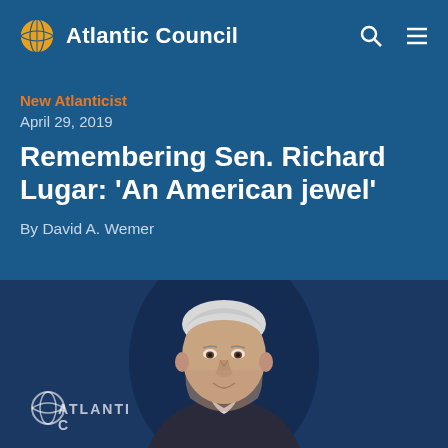Atlantic Council
New Atlanticist
April 29, 2019
Remembering Sen. Richard Lugar: ‘An American jewel’
By David A. Wemer
[Figure (photo): Photo of an elderly white-haired man speaking at a podium in front of an Atlantic Council backdrop. The Atlantic Council globe logo is visible to the left of the man.]